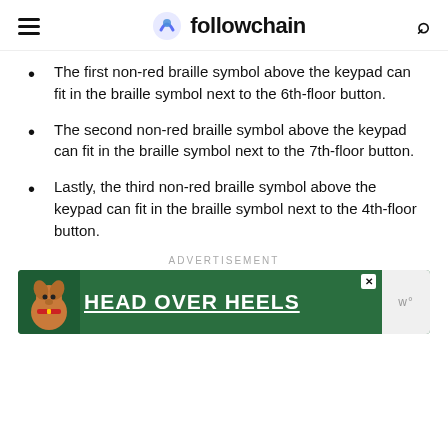followchain
The first non-red braille symbol above the keypad can fit in the braille symbol next to the 6th-floor button.
The second non-red braille symbol above the keypad can fit in the braille symbol next to the 7th-floor button.
Lastly, the third non-red braille symbol above the keypad can fit in the braille symbol next to the 4th-floor button.
ADVERTISEMENT
[Figure (photo): Advertisement banner with green background showing a dog and bold white text reading HEAD OVER HEELS]